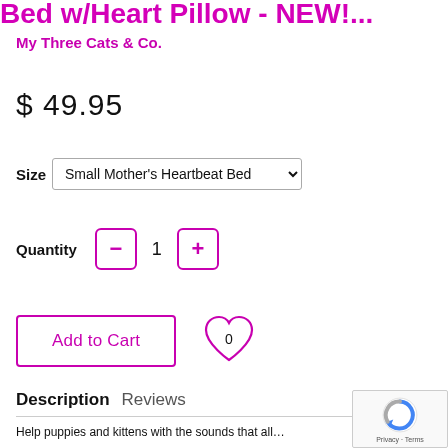Bed w/Heart Pillow - NEW!...
My Three Cats & Co.
$ 49.95
Size  Small Mother's Heartbeat Bed
Quantity  1
Add to Cart
Description   Reviews